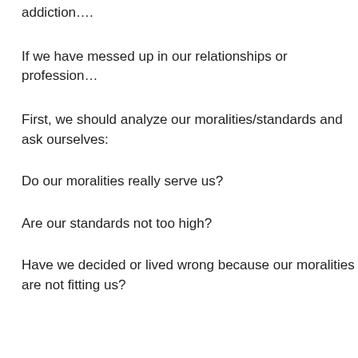addiction….
If we have messed up in our relationships or profession…
First, we should analyze our moralities/standards and ask ourselves:
Do our moralities really serve us?
Are our standards not too high?
Have we decided or lived wrong because our moralities are not fitting us?